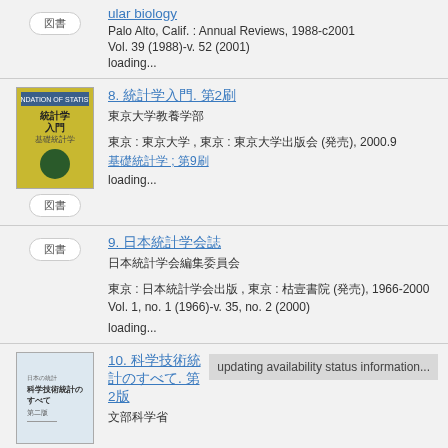ular biology
Palo Alto, Calif. : Annual Reviews, 1988-c2001
Vol. 39 (1988)-v. 52 (2001)
loading...
8. [Japanese title]. [2nd edition]
[Japanese author]
[Japanese publisher info], 2000.9
[Japanese series]; 9
loading...
9. [Japanese title]
[Japanese author/organization]
[Japanese publisher info], 1966-2000
Vol. 1, no. 1 (1966)-v. 35, no. 2 (2000)
loading...
10. [Japanese title]. [2nd edition]
[Japanese author]
updating availability status information...